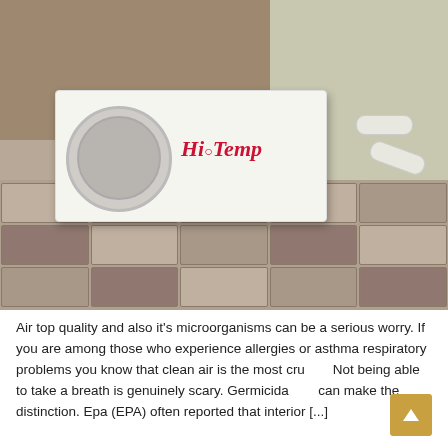[Figure (photo): Outdoor HiTemp mini-split air conditioning unit (white box with circular fan grille and red italic HiTemp logo) mounted on paving stones against a dirt and wall background, with white PVC pipes on the right side.]
Air top quality and also it's microorganisms can be a serious worry. If you are among those who experience allergies or asthma respiratory problems you know that clean air is the most cru... Not being able to take a breath is genuinely scary. Germicida... can make the distinction. Epa (EPA) often reported that interior [...]